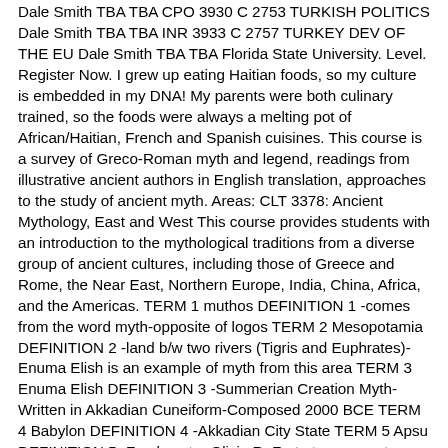Dale Smith TBA TBA CPO 3930 C 2753 TURKISH POLITICS Dale Smith TBA TBA INR 3933 C 2757 TURKEY DEV OF THE EU Dale Smith TBA TBA Florida State University. Level. Register Now. I grew up eating Haitian foods, so my culture is embedded in my DNA! My parents were both culinary trained, so the foods were always a melting pot of African/Haitian, French and Spanish cuisines. This course is a survey of Greco-Roman myth and legend, readings from illustrative ancient authors in English translation, approaches to the study of ancient myth. Areas: CLT 3378: Ancient Mythology, East and West This course provides students with an introduction to the mythological traditions from a diverse group of ancient cultures, including those of Greece and Rome, the Near East, Northern Europe, India, China, Africa, and the Americas. TERM 1 muthos DEFINITION 1 -comes from the word myth-opposite of logos TERM 2 Mesopotamia DEFINITION 2 -land b/w two rivers (Tigris and Euphrates)-Enuma Elish is an example of myth from this area TERM 3 Enuma Elish DEFINITION 3 -Summerian Creation Myth-Written in Akkadian Cuneiform-Composed 2000 BCE TERM 4 Babylon DEFINITION 4 -Akkadian City State TERM 5 Apsu DEFINITION 5 -Fresh water Olivia R. Forty-two semester hours of advanced coursework (3000 or 4000 level) are the absolute minimum. Tip-off for Saturday's matchup is set for 6:00 p. THE 2000 -